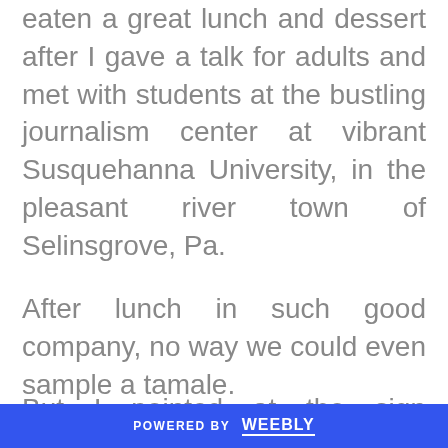eaten a great lunch and dessert after I gave a talk for adults and met with students at the bustling journalism center at vibrant Susquehanna University, in the pleasant river town of Selinsgrove, Pa.
After lunch in such good company, no way we could even sample a tamale.
But I pointed at the sign alongside Zapata's Food Truck at Exit 256, and
POWERED BY weebly